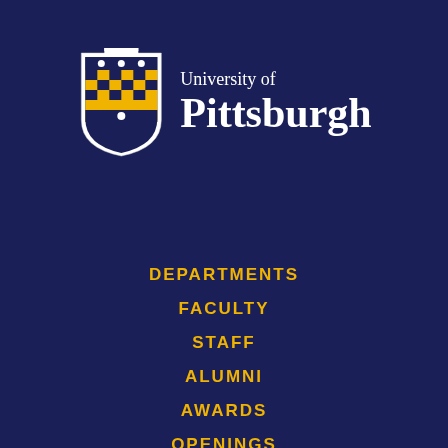[Figure (logo): University of Pittsburgh logo with shield crest and text 'University of Pittsburgh' in white on navy background]
DEPARTMENTS
FACULTY
STAFF
ALUMNI
AWARDS
OPENINGS
CONTACT US